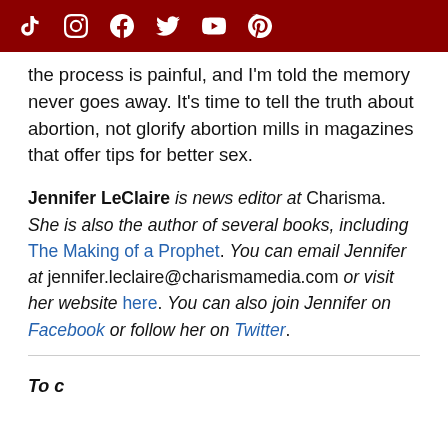Social media icons: TikTok, Instagram, Facebook, Twitter, YouTube, Pinterest
the process is painful, and I'm told the memory never goes away. It's time to tell the truth about abortion, not glorify abortion mills in magazines that offer tips for better sex.
Jennifer LeClaire is news editor at Charisma. She is also the author of several books, including The Making of a Prophet. You can email Jennifer at jennifer.leclaire@charismamedia.com or visit her website here. You can also join Jennifer on Facebook or follow her on Twitter.